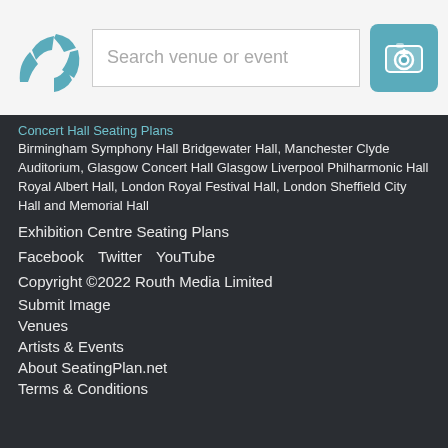[Figure (logo): SeatingPlan.net logo — teal fan/seating icon]
Search venue or event
[Figure (other): Teal camera/submit image button icon with plus sign]
Concert Hall Seating Plans
Birmingham Symphony Hall Bridgewater Hall, Manchester Clyde Auditorium, Glasgow Concert Hall Glasgow Liverpool Philharmonic Hall Royal Albert Hall, London Royal Festival Hall, London Sheffield City Hall and Memorial Hall
Exhibition Centre Seating Plans
Facebook    Twitter    YouTube
Copyright ©2022 Routh Media Limited
Submit Image
Venues
Artists & Events
About SeatingPlan.net
Terms & Conditions